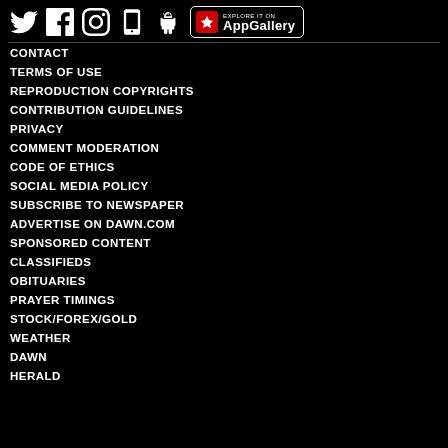[Figure (other): Social media and app icons: Twitter, Facebook, Instagram, iPhone app, Android app, and Huawei AppGallery button]
CONTACT
TERMS OF USE
REPRODUCTION COPYRIGHTS
CONTRIBUTION GUIDELINES
PRIVACY
COMMENT MODERATION
CODE OF ETHICS
SOCIAL MEDIA POLICY
SUBSCRIBE TO NEWSPAPER
ADVERTISE ON DAWN.COM
SPONSORED CONTENT
CLASSIFIEDS
OBITUARIES
PRAYER TIMINGS
STOCK/FOREX/GOLD
WEATHER
DAWN
HERALD